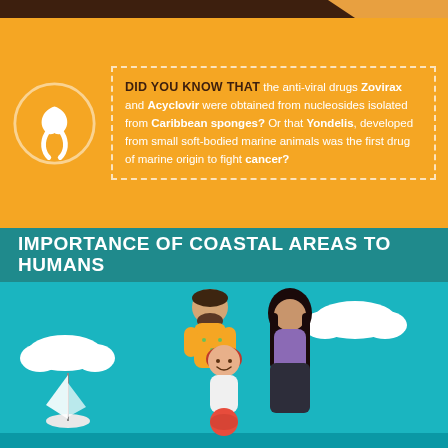DID YOU KNOW THAT the anti-viral drugs Zovirax and Acyclovir were obtained from nucleosides isolated from Caribbean sponges? Or that Yondelis, developed from small soft-bodied marine animals was the first drug of marine origin to fight cancer?
IMPORTANCE OF COASTAL AREAS TO HUMANS
[Figure (illustration): Cartoon illustration of a family (father, mother, and child) standing outdoors near the coast. Clouds and a sailboat are visible in the teal background.]